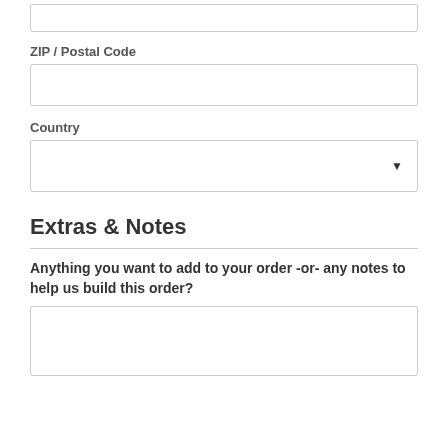ZIP / Postal Code
[Figure (other): Text input field for ZIP / Postal Code]
Country
[Figure (other): Dropdown select field for Country with down arrow]
Extras & Notes
Anything you want to add to your order -or- any notes to help us build this order?
[Figure (other): Large textarea input field for order notes]